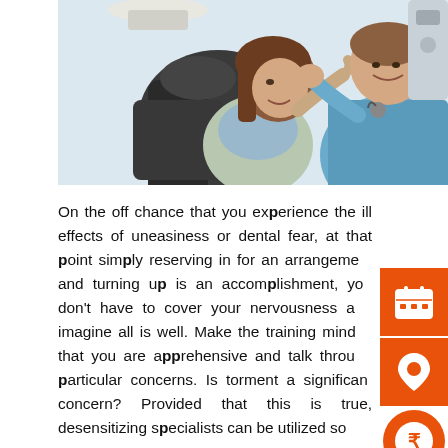[Figure (photo): A dental patient reclining in a dental chair, talking with a female dentist in blue scrubs who is gesturing with her hand in a dental office setting.]
On the off chance that you experience the ill effects of uneasiness or dental fear, at that point simply reserving in for an arrangement and turning up is an accomplishment, you don't have to cover your nervousness and imagine all is well. Make the training mindful that you are apprehensive and talk through particular concerns. Is torment a significant concern? Provided that this is true, desensitizing specialists can be utilized so